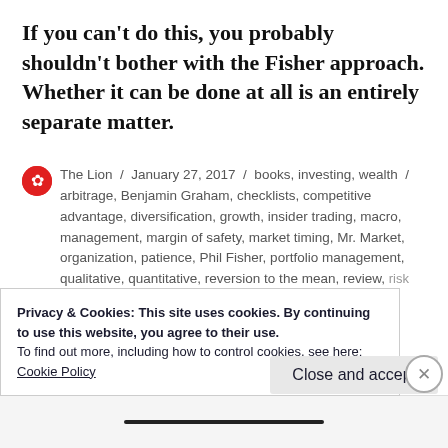If you can't do this, you probably shouldn't bother with the Fisher approach. Whether it can be done at all is an entirely separate matter.
The Lion / January 27, 2017 / books, investing, wealth / arbitrage, Benjamin Graham, checklists, competitive advantage, diversification, growth, insider trading, macro, management, margin of safety, market timing, Mr. Market, organization, patience, Phil Fisher, portfolio management, qualitative, quantitative, reversion to the mean, review, risk management, scuttlebutt, super acts, the edge, the...
Privacy & Cookies: This site uses cookies. By continuing to use this website, you agree to their use.
To find out more, including how to control cookies, see here: Cookie Policy
Close and accept